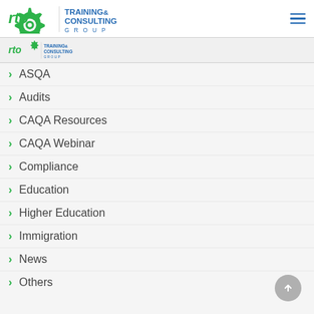RTC Training & Consulting Group - Navigation header with logo and hamburger menu
[Figure (logo): RTC Training & Consulting Group logo (smaller version) in sub-header bar]
ASQA
Audits
CAQA Resources
CAQA Webinar
Compliance
Education
Higher Education
Immigration
News
Others